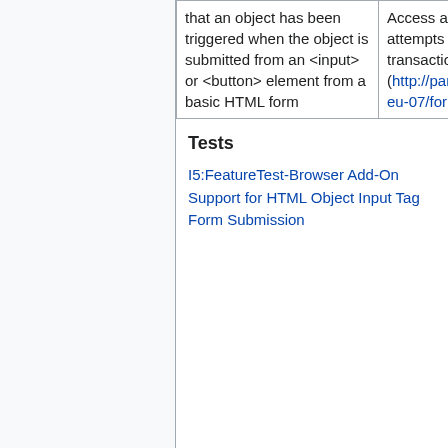| that an object has been triggered when the object is submitted from an <input> or <button> element from a basic HTML form | Access an RP which attempts to trigger a Selector transaction HTML form (http://pamelaproject.com/osi-eu-07/form-submission/ ) |
Tests
I5:FeatureTest-Browser Add-On Support for HTML Object Input Tag Form Submission